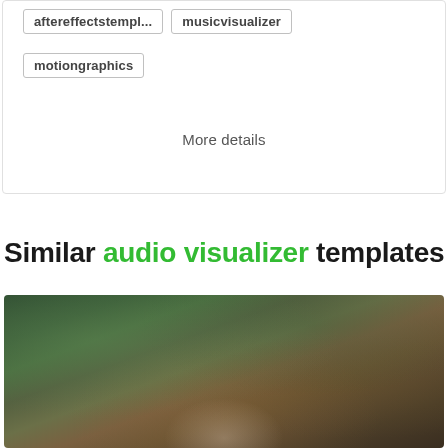aftereffectstempl...
musicvisualizer
motiongraphics
More details
Similar audio visualizer templates
[Figure (photo): Forest scene photo with dark green trees and warm earthy tones, partially cut off at bottom of page]